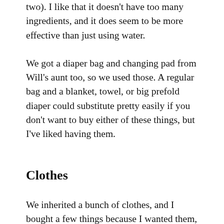two). I like that it doesn't have too many ingredients, and it does seem to be more effective than just using water.
We got a diaper bag and changing pad from Will's aunt too, so we used those. A regular bag and a blanket, towel, or big prefold diaper could substitute pretty easily if you don't want to buy either of these things, but I've liked having them.
Clothes
We inherited a bunch of clothes, and I bought a few things because I wanted them, and because they would be more EC-friendly. Onesies don't